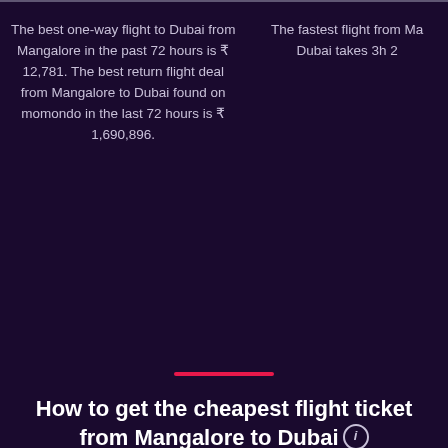The best one-way flight to Dubai from Mangalore in the past 72 hours is ₹ 12,781. The best return flight deal from Mangalore to Dubai found on momondo in the last 72 hours is ₹ 1,690,896.
The fastest flight from Ma... Dubai takes 3h 2...
How to get the cheapest flight ticket from Mangalore to Dubai
Look no further. We've gone through all the searches for this route on momondo so you have the important information and insights to find the cheapest flight ticket for your trip